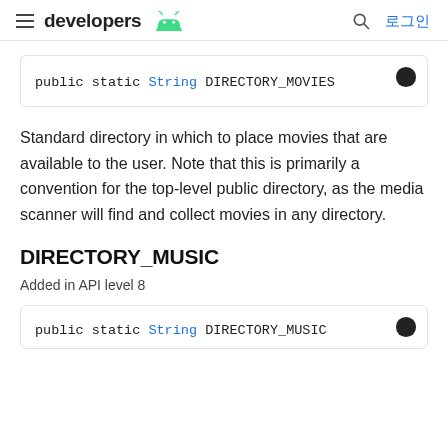developers — 로그인
public static String DIRECTORY_MOVIES
Standard directory in which to place movies that are available to the user. Note that this is primarily a convention for the top-level public directory, as the media scanner will find and collect movies in any directory.
DIRECTORY_MUSIC
Added in API level 8
public static String DIRECTORY_MUSIC